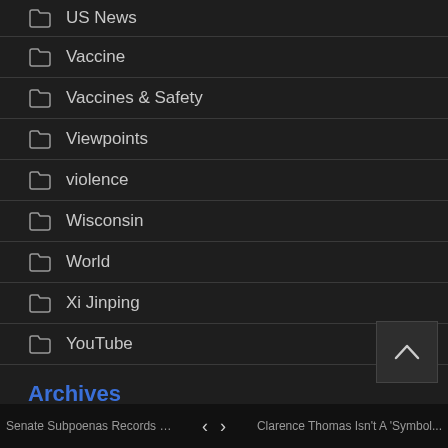US News
Vaccine
Vaccines & Safety
Viewpoints
violence
Wisconsin
World
Xi Jinping
YouTube
Archives
April 2021
August 2020
Senate Subpoenas Records Fro... < > Clarence Thomas Isn't A 'Symbol...